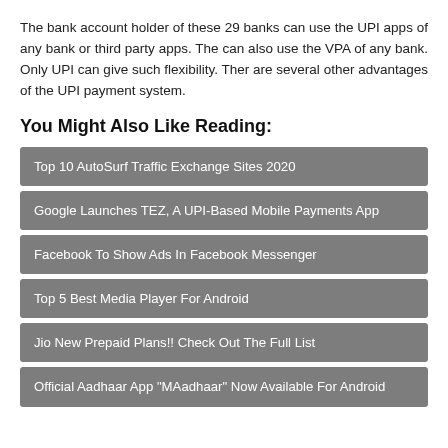The bank account holder of these 29 banks can use the UPI apps of any bank or third party apps. The can also use the VPA of any bank. Only UPI can give such flexibility. Ther are several other advantages of the UPI payment system.
You Might Also Like Reading:
Top 10 AutoSurf Traffic Exchange Sites 2020
Google Launches TEZ, A UPI-Based Mobile Payments App
Facebook To Show Ads In Facebook Messenger
Top 5 Best Media Player For Android
Jio New Prepaid Plans!! Check Out The Full List
Official Aadhaar App "MAadhaar" Now Available For Android